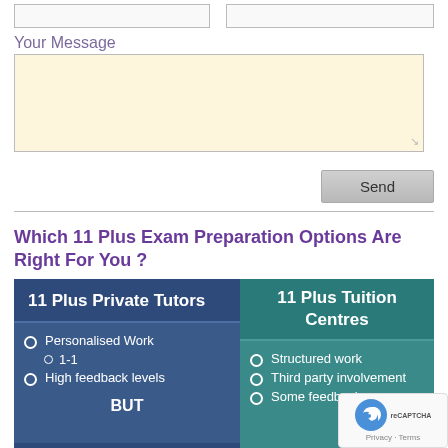[Figure (screenshot): Two empty input fields side by side (form fields)]
Your Message
[Figure (screenshot): Large textarea input box with beige/cream background for message entry]
[Figure (screenshot): Send button with grey gradient styling]
Which 11 Plus Exam Preparation Options Are Right For You ?
| 11 Plus Private Tutors | 11 Plus Tuition Centres |
| --- | --- |
| Personalised Work
1-1
High feedback levels
BUT | Structured work
Third party involvement
Some feedback |